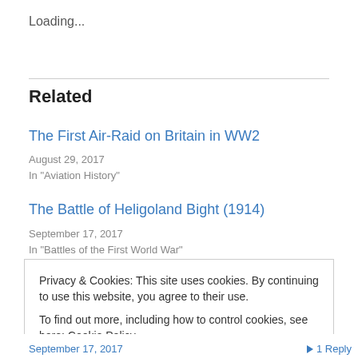Loading...
Related
The First Air-Raid on Britain in WW2
August 29, 2017
In "Aviation History"
The Battle of Heligoland Bight (1914)
September 17, 2017
In "Battles of the First World War"
Privacy & Cookies: This site uses cookies. By continuing to use this website, you agree to their use. To find out more, including how to control cookies, see here: Cookie Policy
September 17, 2017   1 Reply